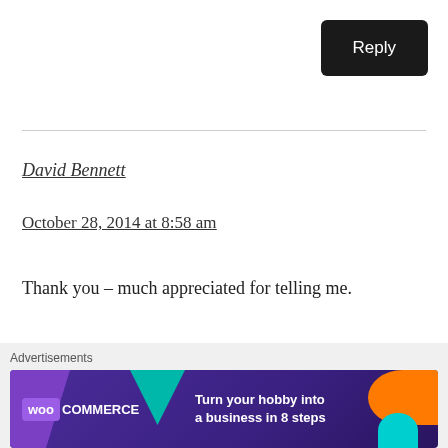Reply
David Bennett
October 28, 2014 at 8:58 am
Thank you – much appreciated for telling me.
Like
Advertisements
[Figure (illustration): WooCommerce advertisement banner: 'Turn your hobby into a business in 8 steps']